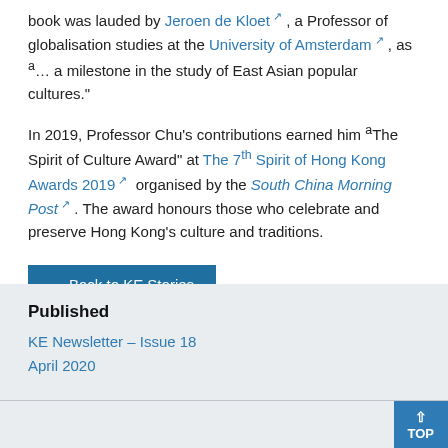book was lauded by Jeroen de Kloet, a Professor of globalisation studies at the University of Amsterdam, as "… a milestone in the study of East Asian popular cultures."
In 2019, Professor Chu's contributions earned him "The Spirit of Culture Award" at The 7th Spirit of Hong Kong Awards 2019 organised by the South China Morning Post. The award honours those who celebrate and preserve Hong Kong's culture and traditions.
← Back to KE Stories
Published
KE Newsletter – Issue 18
April 2020